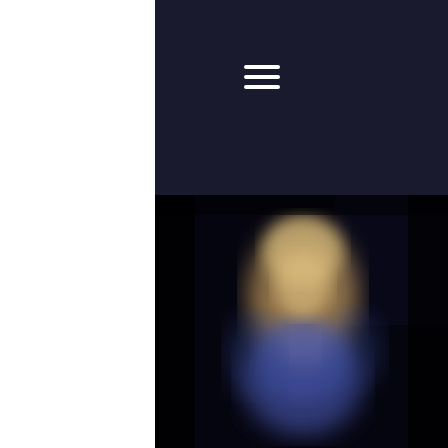[Figure (photo): Blurred photo of a performer (Kim Cypher) on a dark stage background, blond hair, wearing a blue outfit]
Kim Cypher - 'Love Kim x' Album Tour
With Chris Cobbson on guitar, Mike Cypher on drums, Mike Green on double bass and Kim Cypher on sax &